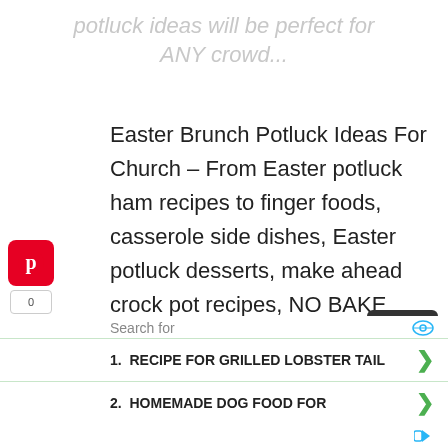potluck ideas will be perfect for ANY crowd...
Easter Brunch Potluck Ideas For Church – From Easter potluck ham recipes to finger foods, casserole side dishes, Easter potluck desserts, make ahead crock pot recipes, NO BAKE church desserts and party trays to throw together last minute, you're
Search for
1. RECIPE FOR GRILLED LOBSTER TAIL
2. HOMEMADE DOG FOOD FOR